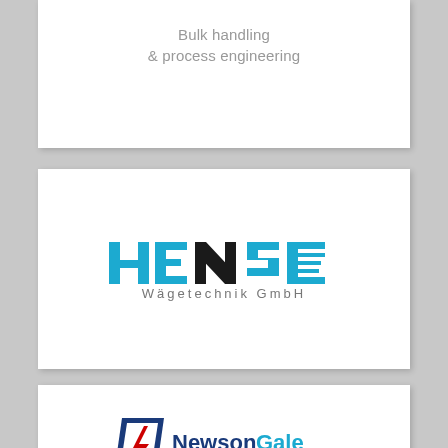Bulk handling & process engineering
[Figure (logo): HENSE Wägetechnik GmbH logo — stylized blue block letters H, E, N, S, E with horizontal lines, black N, and gray text 'Wägetechnik GmbH' below]
[Figure (logo): Newson Gale HOERBIGER Safety Solutions logo — blue parallelogram with red lightning bolt, dark blue 'Newson Gale' text, red 'HOERBIGER Safety Solutions' tagline]